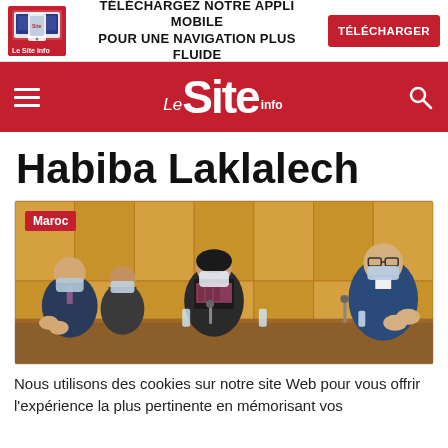[Figure (infographic): App download advertisement banner with thumbnail, text 'TÉLÉCHARGEZ NOTRE APPLI MOBILE POUR UNE NAVIGATION PLUS FLUIDE' and red button 'TÉLÉCHARGER']
Le Site info — navigation bar with hamburger menu, logo, and search icon
Habiba Laklalech
[Figure (photo): People seated at a conference table wearing face masks and applauding, with a 'Maroc' category badge overlay]
Nous utilisons des cookies sur notre site Web pour vous offrir l'expérience la plus pertinente en mémorisant vos